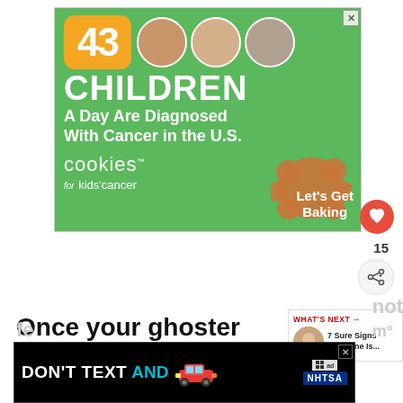[Figure (infographic): Advertisement for Cookies for Kids Cancer: green background with '43 CHILDREN A Day Are Diagnosed With Cancer in the U.S.' text, three child photos in circles, orange number badge, cookie image, and 'Let's Get Baking' call to action]
Once your ghoster feels threa... they will want to confess their
[Figure (infographic): WHAT'S NEXT thumbnail panel showing a woman photo and text '7 Sure Signs Someone Is...']
[Figure (infographic): Advertisement: DON'T TEXT AND [car emoji] with NHTSA logo on black background]